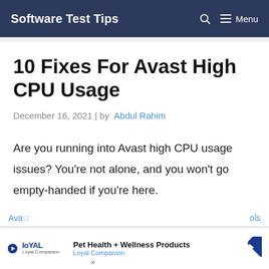Software Test Tips | Menu
10 Fixes For Avast High CPU Usage
December 16, 2021 | by Abdul Rahim
Are you running into Avast high CPU usage issues? You’re not alone, and you won’t go empty-handed if you’re here.
Pet Health + Wellness Products Loyal Companion